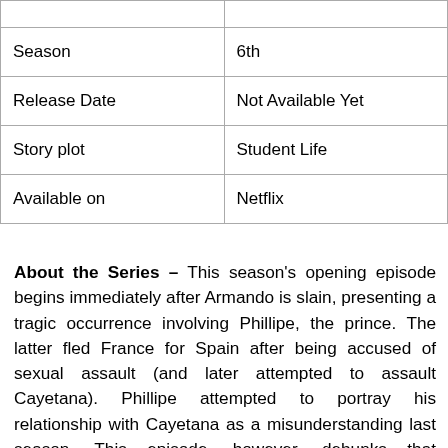|  |  |
| Season | 6th |
| Release Date | Not Available Yet |
| Story plot | Student Life |
| Available on | Netflix |
About the Series – This season's opening episode begins immediately after Armando is slain, presenting a tragic occurrence involving Phillipe, the prince. The latter fled France for Spain after being accused of sexual assault (and later attempted to assault Cayetana). Phillipe attempted to portray his relationship with Cayetana as a misunderstanding last season. This episode, however, debunks that allegation, opening